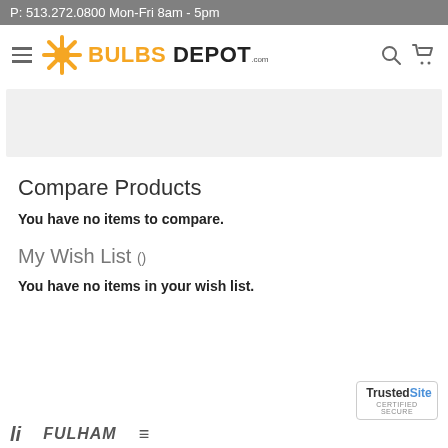P: 513.272.0800 Mon-Fri 8am - 5pm
[Figure (logo): Bulbs Depot logo with orange asterisk/sunburst icon and bold text BULBS DEPOT .com]
[Figure (other): Gray advertisement banner placeholder]
Compare Products
You have no items to compare.
My Wish List ()
You have no items in your wish list.
[Figure (logo): TrustedSite Certified Secure badge]
[Figure (logo): Partial brand logos at bottom: li, FULHAM, and another brand]